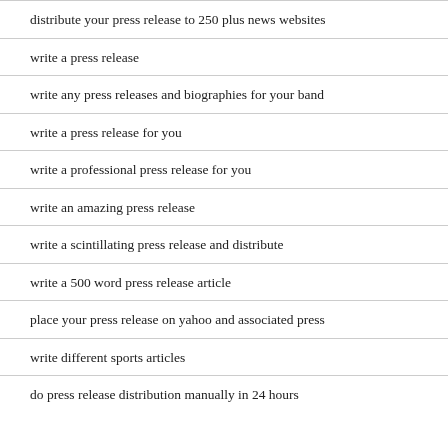distribute your press release to 250 plus news websites
write a press release
write any press releases and biographies for your band
write a press release for you
write a professional press release for you
write an amazing press release
write a scintillating press release and distribute
write a 500 word press release article
place your press release on yahoo and associated press
write different sports articles
do press release distribution manually in 24 hours